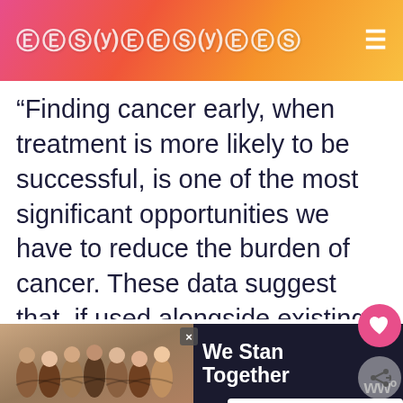GOODGOODGOOD
“Finding cancer early, when treatment is more likely to be successful, is one of the most significant opportunities we have to reduce the burden of cancer. These data suggest that, if used alongside existing screening tests, the multi-cancer detection test could have a profound impact on how cancer is detected and, ultimately, on public health,” Dr. Eric Klein, one of the authors of the research told The Guardian.
[Figure (screenshot): Advertisement banner at the bottom showing people standing together with text 'We Stand Together' on dark background]
WHAT'S NEXT → The 162 Best Good News....